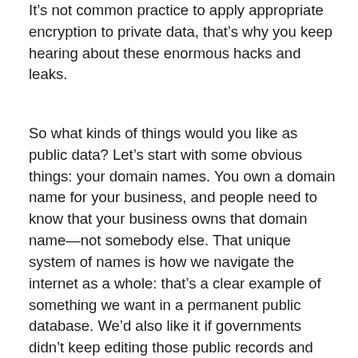It's not common practice to apply appropriate encryption to private data, that's why you keep hearing about these enormous hacks and leaks.
So what kinds of things would you like as public data? Let's start with some obvious things: your domain names. You own a domain name for your business, and people need to know that your business owns that domain name—not somebody else. That unique system of names is how we navigate the internet as a whole: that's a clear example of something we want in a permanent public database. We'd also like it if governments didn't keep editing those public records and taking domains offline based on their local laws: if the internet is a global public good, it's annoying to have governments constantly poking holes in it by censoring things they don't like.